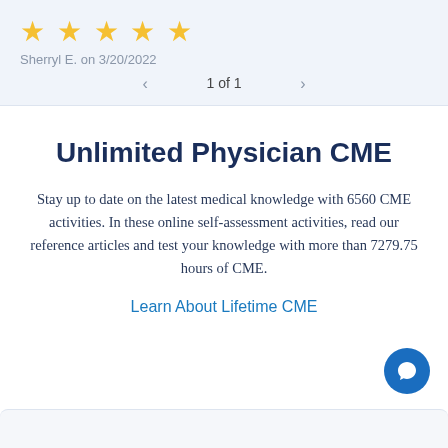[Figure (other): Five gold star rating icons]
Sherryl E. on 3/20/2022
1 of 1
Unlimited Physician CME
Stay up to date on the latest medical knowledge with 6560 CME activities. In these online self-assessment activities, read our reference articles and test your knowledge with more than 7279.75 hours of CME.
Learn About Lifetime CME